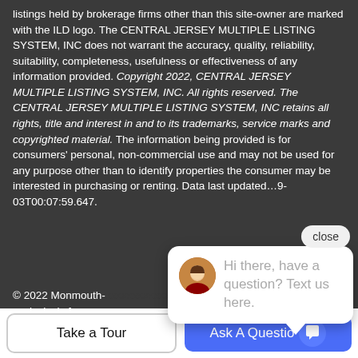listings held by brokerage firms other than this site-owner are marked with the ILD logo. The CENTRAL JERSEY MULTIPLE LISTING SYSTEM, INC does not warrant the accuracy, quality, reliability, suitability, completeness, usefulness or effectiveness of any information provided. Copyright 2022, CENTRAL JERSEY MULTIPLE LISTING SYSTEM, INC. All rights reserved. The CENTRAL JERSEY MULTIPLE LISTING SYSTEM, INC retains all rights, title and interest in and to its trademarks, service marks and copyrighted material. The information being provided is for consumers' personal, non-commercial use and may not be used for any purpose other than to identify properties the consumer may be interested in purchasing or renting. Data last updated: ...9-03T00:07:59.647.
© 2022 Monmouth- ... exclusively for cons... not be used for any purpose other than to identify prospective properties consumers may be interested in purchasing. Data is...